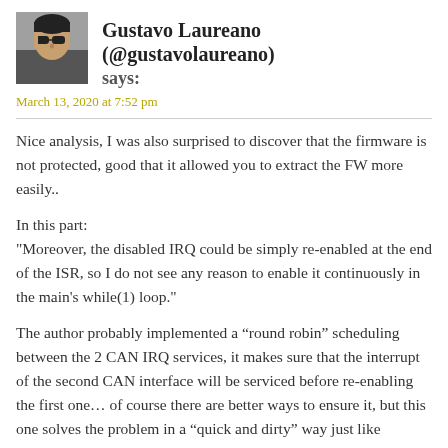[Figure (photo): Avatar photo of Gustavo Laureano, a person wearing sunglasses]
Gustavo Laureano (@gustavolaureano) says:
March 13, 2020 at 7:52 pm
Nice analysis, I was also surprised to discover that the firmware is not protected, good that it allowed you to extract the FW more easily..
In this part:
"Moreover, the disabled IRQ could be simply re-enabled at the end of the ISR, so I do not see any reason to enable it continuously in the main's while(1) loop."
The author probably implemented a “round robin” scheduling between the 2 CAN IRQ services, it makes sure that the interrupt of the second CAN interface will be serviced before re-enabling the first one… of course there are better ways to ensure it, but this one solves the problem in a “quick and dirty” way just like